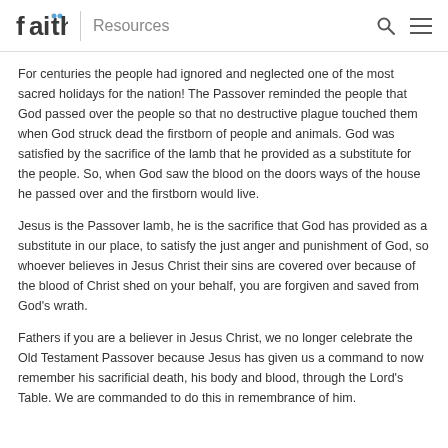faith | Resources
For centuries the people had ignored and neglected one of the most sacred holidays for the nation! The Passover reminded the people that God passed over the people so that no destructive plague touched them when God struck dead the firstborn of people and animals. God was satisfied by the sacrifice of the lamb that he provided as a substitute for the people. So, when God saw the blood on the doors ways of the house he passed over and the firstborn would live.
Jesus is the Passover lamb, he is the sacrifice that God has provided as a substitute in our place, to satisfy the just anger and punishment of God, so whoever believes in Jesus Christ their sins are covered over because of the blood of Christ shed on your behalf, you are forgiven and saved from God's wrath.
Fathers if you are a believer in Jesus Christ, we no longer celebrate the Old Testament Passover because Jesus has given us a command to now remember his sacrificial death, his body and blood, through the Lord's Table. We are commanded to do this in remembrance of him.